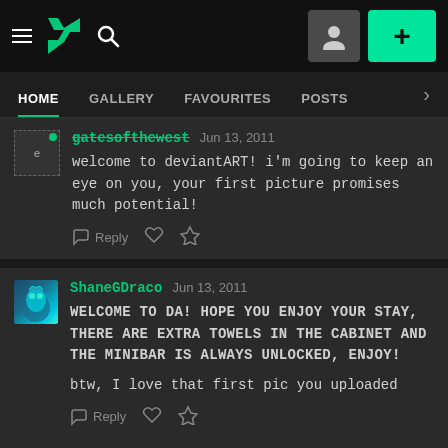DeviantArt navigation bar with HOME, GALLERY, FAVOURITES, POSTS tabs
gatesofthewest  Jun 13, 2011
welcome to deviantART! i'm going to keep an eye on you, your first picture promises much potential!
ShaneGDraco  Jun 13, 2011
WELCOME TO DA! HOPE YOU ENJOY YOUR STAY, THERE ARE EXTRA TOWELS IN THE CABINET AND THE MINIBAR IS ALWAYS UNLOCKED, ENJOY!

btw, I love that first pic you uploaded